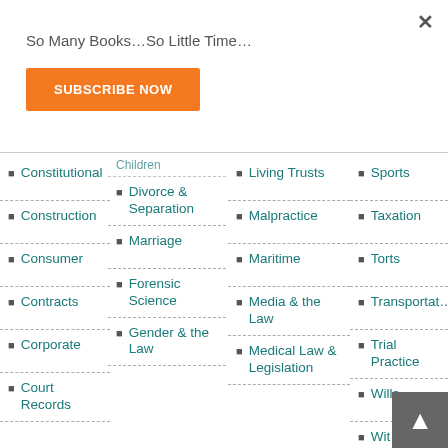×
So Many Books…So Little Time…
SUBSCRIBE NOW
Constitutional
Construction
Consumer
Contracts
Corporate
Court Records
Children
Divorce & Separation
Marriage
Forensic Science
Gender & the Law
Living Trusts
Malpractice
Maritime
Media & the Law
Medical Law & Legislation
Sports
Taxation
Torts
Transportation
Trial Practice
Wills
Wit…